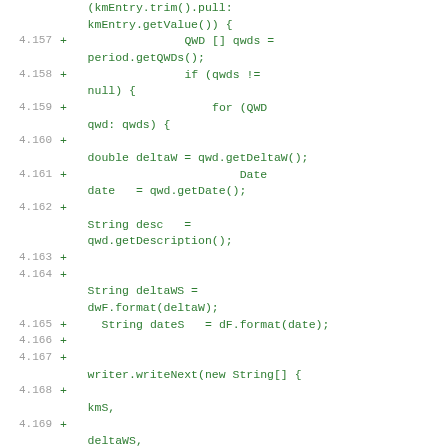Code diff showing lines 4.157–4.171 of a Java source file with additions marked by + signs
[Figure (screenshot): Source code diff fragment showing Java code additions for processing QWD entries, including methods getQWDs(), getDeltaW(), getDate(), getDescription(), format calls, and writeNext call with array of kmS, deltaWS, dateS values]